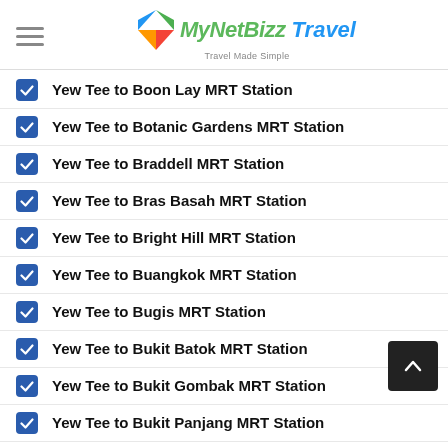MyNetBizz Travel — Travel Made Simple
Yew Tee to Boon Lay MRT Station
Yew Tee to Botanic Gardens MRT Station
Yew Tee to Braddell MRT Station
Yew Tee to Bras Basah MRT Station
Yew Tee to Bright Hill MRT Station
Yew Tee to Buangkok MRT Station
Yew Tee to Bugis MRT Station
Yew Tee to Bukit Batok MRT Station
Yew Tee to Bukit Gombak MRT Station
Yew Tee to Bukit Panjang MRT Station
Yew Tee to Buona Vista MRT Station